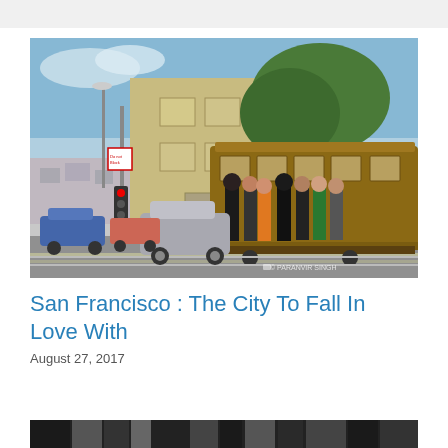[Figure (photo): Street-level photo of a San Francisco cable car with passengers riding on the running boards, stopped at an intersection with a yellow/olive apartment building, street signs, traffic light, and parked cars in the background. Blue sky and trees visible. Watermark: © PARANVIR SINGH]
San Francisco : The City To Fall In Love With
August 27, 2017
[Figure (photo): Partial bottom strip of another photo, showing a dark/black and white nature or city scene, partially cropped.]